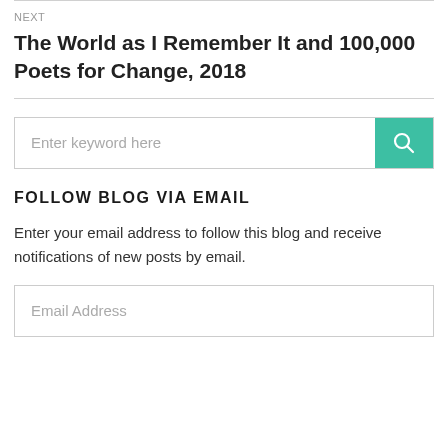NEXT
The World as I Remember It and 100,000 Poets for Change, 2018
[Figure (other): Search input field with teal search button containing a magnifying glass icon]
FOLLOW BLOG VIA EMAIL
Enter your email address to follow this blog and receive notifications of new posts by email.
[Figure (other): Email address input field with placeholder text 'Email Address']